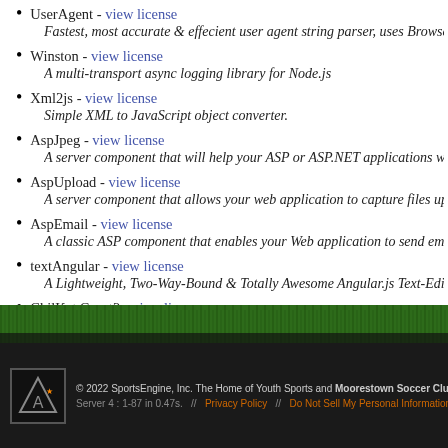UserAgent - view license
Fastest, most accurate & effecient user agent string parser, uses Browserscope's resea...
Winston - view license
A multi-transport async logging library for Node.js
Xml2js - view license
Simple XML to JavaScript object converter.
AspJpeg - view license
A server component that will help your ASP or ASP.NET applications with all their im...
AspUpload - view license
A server component that allows your web application to capture files uploaded with a...
AspEmail - view license
A classic ASP component that enables your Web application to send email messages vi...
textAngular - view license
A Lightweight, Two-Way-Bound & Totally Awesome Angular.js Text-Editor
ChilKat.Crypt2 - view license
Server side Com component for data encryption and hashing.
Sincere thank yous to all of the developers and contributors to the above projects.
© 2022 SportsEngine, Inc. The Home of Youth Sports and Moorestown Soccer Club (49... Server 4 : 1-87 in 0.47s.  //  Privacy Policy  //  Do Not Sell My Personal Information